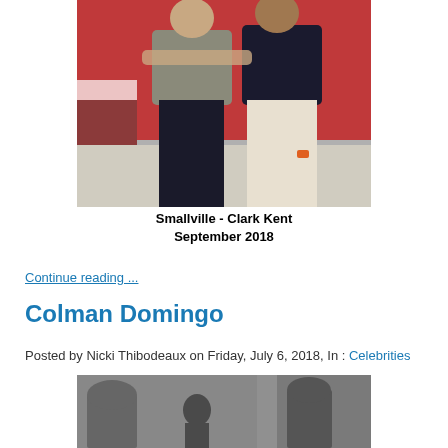[Figure (photo): Two people posing together indoors at what appears to be a convention or event, with red draped tables in the background. One person wearing a gray shirt and dark pants, the other in a dark polo shirt and white pants with an orange wristband.]
Smallville - Clark Kent
September 2018
Continue reading ...
Colman Domingo
Posted by Nicki Thibodeaux on Friday, July 6, 2018, In : Celebrities
[Figure (photo): Black and white or desaturated photo of a person standing near a brick wall with arched doorways, appears to be an alley or outdoor urban setting.]